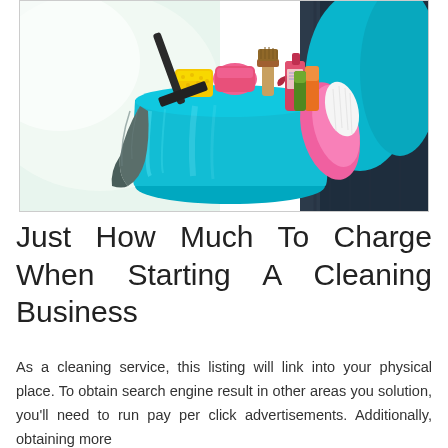[Figure (photo): A person holding a bright teal/turquoise cleaning bucket filled with colorful cleaning supplies including sponges (yellow and pink), brushes, spray bottles, and a teal scrubber. A dark grey microfiber cloth hangs over the side. The person appears to be wearing dark jeans. Background is blurred light/white on one side.]
Just How Much To Charge When Starting A Cleaning Business
As a cleaning service, this listing will link into your physical place. To obtain search engine result in other areas you solution, you'll need to run pay per click advertisements. Additionally, obtaining more favorable evaluations will aid your ranking.